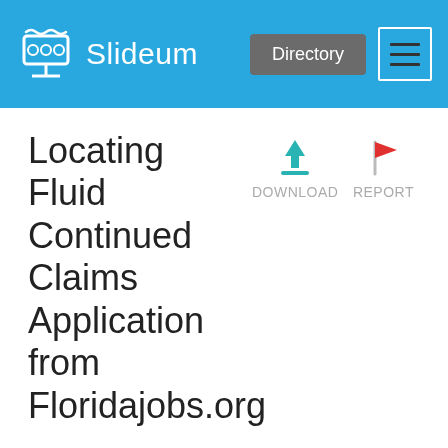Slideum | Directory | Menu
Locating Fluid Continued Claims Application from Floridajobs.org
[Figure (screenshot): Download icon (teal download arrow) with label DOWNLOAD]
[Figure (screenshot): Report icon (red flag) with label REPORT]